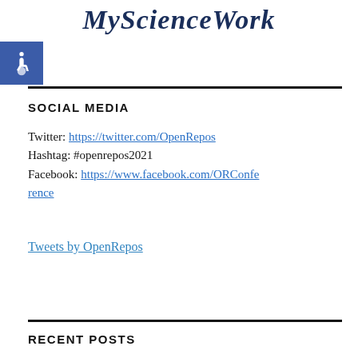[Figure (logo): MyScienceWork logo in dark navy italic serif font]
[Figure (illustration): Blue accessibility (wheelchair) icon on blue square background]
SOCIAL MEDIA
Twitter: https://twitter.com/OpenRepos
Hashtag: #openrepos2021
Facebook: https://www.facebook.com/ORConference
Tweets by OpenRepos
RECENT POSTS